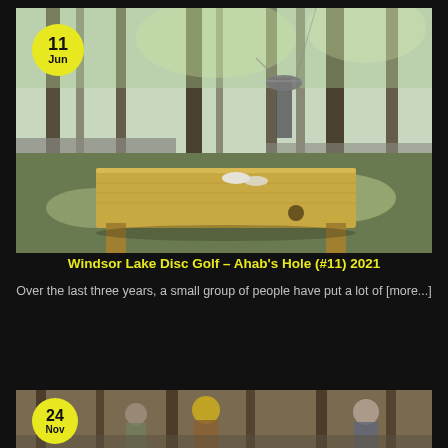[Figure (photo): Disc golf hole in a wooded forest setting with a wooden tee box/bench in the foreground and a disc golf basket visible in the background among tall trees with dappled sunlight]
Windsor Lake Disc Golf – Ahab's Hole (#11) 2021
Over the last three years, a small group of people have put a lot of [more...]
[Figure (photo): Group of people outdoors in a wooded area, partially visible at bottom of page, date badge shows 24 Nov]